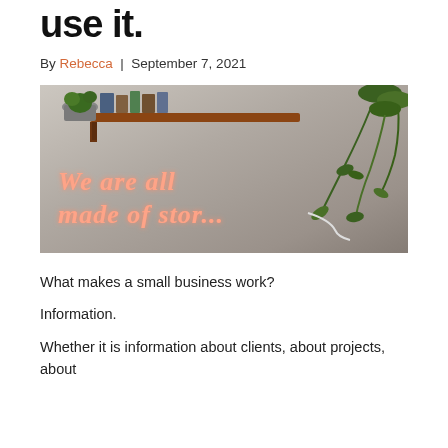use it.
By Rebecca | September 7, 2021
[Figure (photo): Neon sign on a wall reading 'We are all made of stor...' with a wooden shelf above holding books and a plant, and a hanging plant to the right.]
What makes a small business work?
Information.
Whether it is information about clients, about projects, about